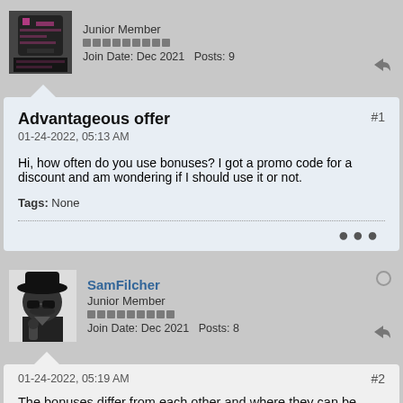Junior Member
Join Date: Dec 2021  Posts: 9
Advantageous offer
01-24-2022, 05:13 AM
Hi, how often do you use bonuses? I got a promo code for a discount and am wondering if I should use it or not.
Tags: None
SamFilcher
Junior Member
Join Date: Dec 2021  Posts: 8
01-24-2022, 05:19 AM
The bonuses differ from each other and where they can be applied. Make sure you read the conditions under which the bonus can be applied. It applies to the entire receipt or a specific product. I had a